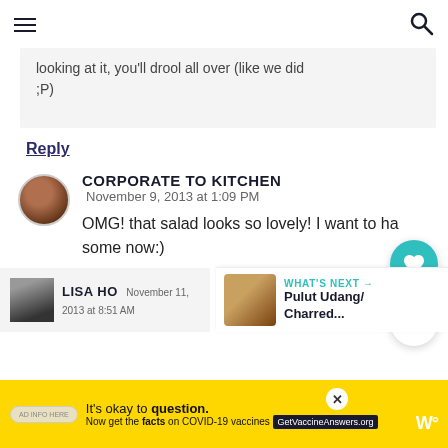Navigation header with hamburger menu and search icon
looking at it, you'll drool all over (like we did ;P)
Reply
CORPORATE TO KITCHEN
November 9, 2013 at 1:09 PM
OMG! that salad looks so lovely! I want to have some now:)
LISA HO   November 11, 2013 at 8:51 AM
WHAT'S NEXT → Pulut Udang/ Charred...
It's okay to question. Now get the facts on COVID-19 vaccines GetVaccineAnswers.org